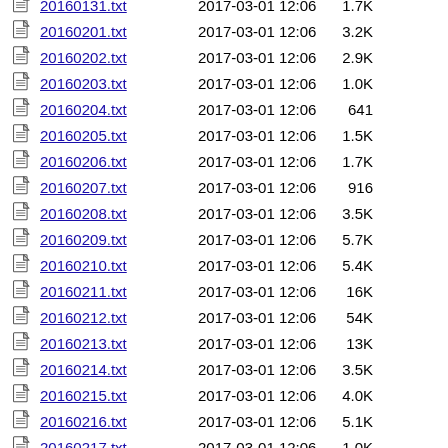20160131.txt  2017-03-01 12:06  1.7K
20160201.txt  2017-03-01 12:06  3.2K
20160202.txt  2017-03-01 12:06  2.9K
20160203.txt  2017-03-01 12:06  1.0K
20160204.txt  2017-03-01 12:06  641
20160205.txt  2017-03-01 12:06  1.5K
20160206.txt  2017-03-01 12:06  1.7K
20160207.txt  2017-03-01 12:06  916
20160208.txt  2017-03-01 12:06  3.5K
20160209.txt  2017-03-01 12:06  5.7K
20160210.txt  2017-03-01 12:06  5.4K
20160211.txt  2017-03-01 12:06  16K
20160212.txt  2017-03-01 12:06  54K
20160213.txt  2017-03-01 12:06  13K
20160214.txt  2017-03-01 12:06  3.5K
20160215.txt  2017-03-01 12:06  4.0K
20160216.txt  2017-03-01 12:06  5.1K
20160217.txt  2017-03-01 12:06  1.0K